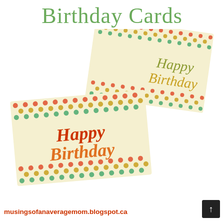Birthday Cards
[Figure (illustration): Two birthday cards with colorful polka dot borders on cream background, each reading 'Happy Birthday' in decorative serif font. One card is angled upper-right with olive/gold text, the other is angled lower-left with red/orange text.]
musingsofanaveragemom.blogspot.ca